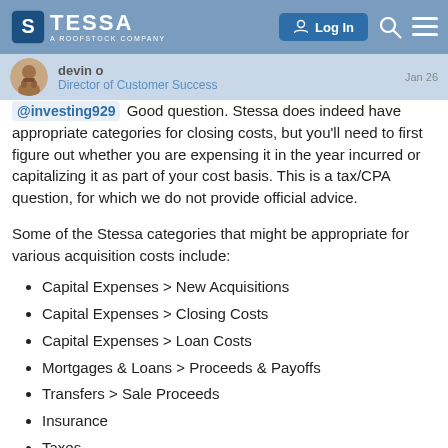STESSA — A ROOFSTOCK COMPANY | Log In
devin o — Director of Customer Success — Jan 26
@investing929  Good question. Stessa does indeed have appropriate categories for closing costs, but you'll need to first figure out whether you are expensing it in the year incurred or capitalizing it as part of your cost basis. This is a tax/CPA question, for which we do not provide official advice.
Some of the Stessa categories that might be appropriate for various acquisition costs include:
Capital Expenses > New Acquisitions
Capital Expenses > Closing Costs
Capital Expenses > Loan Costs
Mortgages & Loans > Proceeds & Payoffs
Transfers > Sale Proceeds
Insurance
Taxes
Utilities